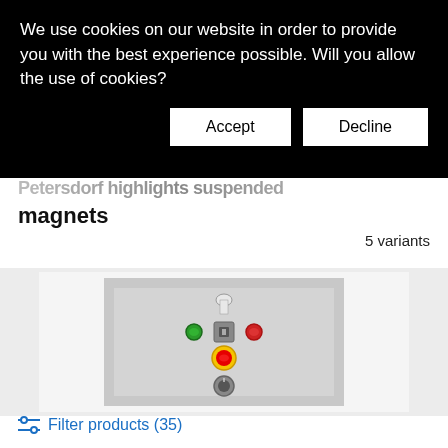We use cookies on our website in order to provide you with the best experience possible. Will you allow the use of cookies?
Accept | Decline
magnets
5 variants
[Figure (photo): Control panel with green and red push buttons, a key switch, yellow emergency stop button, and a rotary switch on a grey metal enclosure]
Filter products (35)